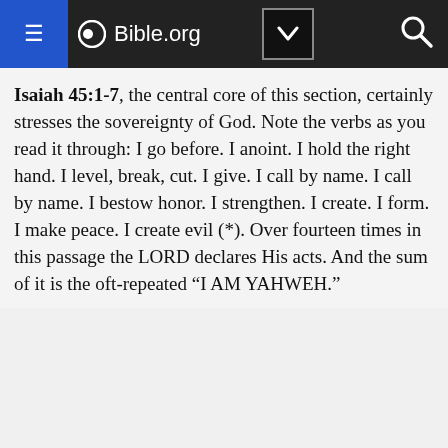Bible.org
Isaiah 45:1-7, the central core of this section, certainly stresses the sovereignty of God. Note the verbs as you read it through: I go before. I anoint. I hold the right hand. I level, break, cut. I give. I call by name. I call by name. I bestow honor. I strengthen. I create. I form. I make peace. I create evil (*). Over fourteen times in this passage the LORD declares His acts. And the sum of it is the oft-repeated “I AM YAHWEH.”